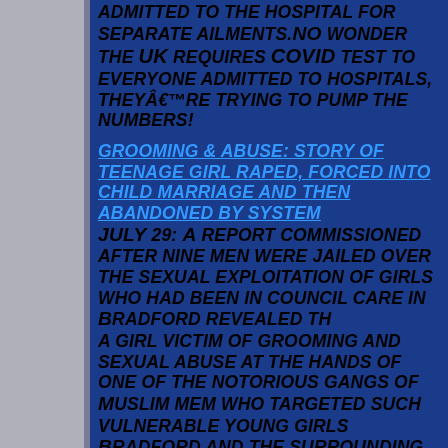ADMITTED TO THE HOSPITAL FOR SEPARATE AILMENTS. No WONDER THE UK REQUIRES COVID TEST TO EVERYONE ADMITTED TO HOSPITALS, THEY'RE TRYING TO PUMP THE NUMBERS!
GROOMING & ABUSE: STORY OF TEENAGE GIRL RAPED, FORCED INTO CHILD MARRIAGE AND THEN ABANDONED BY SYSTEM
JULY 29: A REPORT COMMISSIONED AFTER NINE MEN WERE JAILED OVER THE SEXUAL EXPLOITATION OF GIRLS WHO HAD BEEN IN COUNCIL CARE IN BRADFORD REVEALED THAT A GIRL VICTIM OF GROOMING AND SEXUAL ABUSE AT THE HANDS OF ONE OF THE NOTORIOUS GANGS OF MUSLIM MEM WHO TARGETED SUCH VULNERABLE YOUNG GIRLS. BRADFORD AND THE SURROUNDING AREAS. THE VICTIM, WHILE SILL A CHILD, WAS RAPED